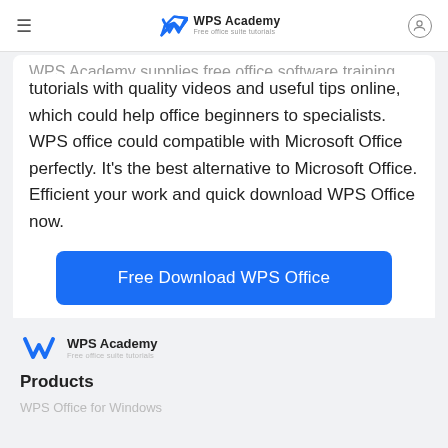WPS Academy — Free office suite tutorials
WPS Academy supplies free office software training tutorials with quality videos and useful tips online, which could help office beginners to specialists. WPS office could compatible with Microsoft Office perfectly. It's the best alternative to Microsoft Office. Efficient your work and quick download WPS Office now.
Free Download WPS Office
[Figure (logo): WPS Academy logo with blue W icon and tagline 'Free office suite tutorials']
Products
WPS Office for Windows